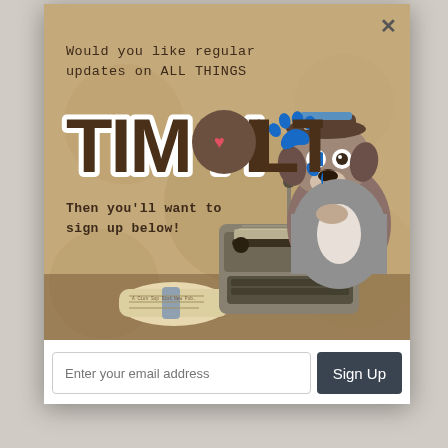[Figure (illustration): Modal popup dialog with illustrated banner showing a cartoon dog in a hat sitting at a vintage typewriter, with a rolled newspaper nearby, on a tan/brown textured background. Text reads 'Would you like regular updates on ALL THINGS TIM HOLTZ? Then you'll want to sign up below!' with a stylized logo for TIM HOLTZ. Below the banner is an email signup form with an input field and Sign Up button. A close (X) button is in the top right corner of the modal.]
Would you like regular updates on ALL THINGS
TIM HOLTZ?
Then you'll want to sign up below!
Enter your email address
Sign Up